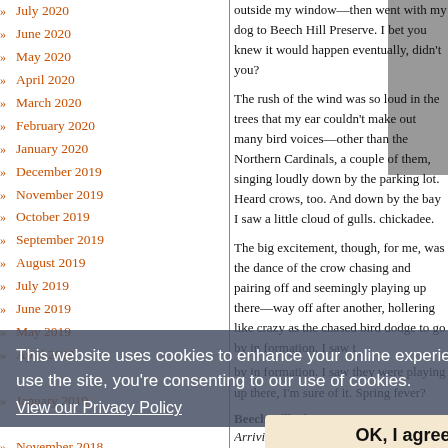July 2020
June 2020
May 2020
April 2020
March 2020
February 2020
January 2020
December 2019
November 2019
October 2019
September 2019
August 2019
July 2019
June 2019
May 2019
April 2019
January 2019
November 2018
October 2018
September 2018
August 2018
July 2018
outside my window—then went with my dog to Beech Hill Preserve. I bet you knew it would happen eventually, didn't you?
The rush of the wind was so loud in the trees that my ear couldn't make out many bird voices—other than the Northern Cardinals, a couple of them, singing loudly down by the parking lot. Heard crows, too. And down by the bay I saw a little cloud of gulls. chickadee.
The big excitement, though, for me, was the dance of the crow chasing and pairing off and seemingly playing up there—way off after another, hollering like crazy as the chased bird dodge to go by in formation. I saw t by in formation. I saw they were playing up there, I'm sure of it. Spring fever?
Beech Hill List
Arriving at 3:15 p.m., I hiked the open trail.
1. Northern Cardinal* (v)
2. American Crow*
3. Herring Gull*
4. Northern Flicker (v)
5. Black-capped Chickadee**
This website uses cookies to enhance your online experience. By continuing to use the site, you're consenting to our use of cookies.
View our Privacy Policy
OK, I agree